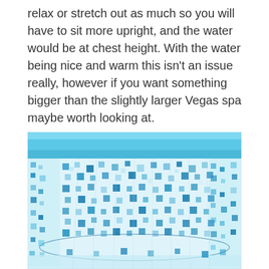relax or stretch out as much so you will have to sit more upright, and the water would be at chest height. With the water being nice and warm this isn't an issue really, however if you want something bigger than the slightly larger Vegas spa maybe worth looking at.
[Figure (photo): Close-up photo of an inflatable spa or hot tub showing its blue and white mosaic tile-patterned walls, viewed from above at an angle. The inflatable structure has a light blue border at the top and features a repeating square tile pattern in various shades of blue on a white background.]